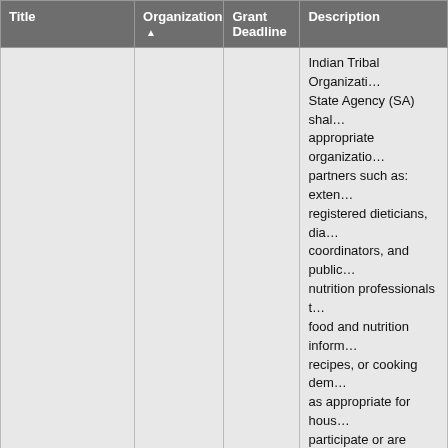| Title | Organization ▲ | Grant Deadline | Description |
| --- | --- | --- | --- |
|  |  |  | Indian Tribal Organizations State Agency (SA) shall appropriate organization partners such as: extension registered dieticians, diabetes coordinators, and public nutrition professionals to food and nutrition information, recipes, or cooking demonstrations as appropriate for households that participate or are eligible to participate in the FDPIR. The ITO or SA shall provide nutrition education and information specific to the foods included in the FDPIR food package to improve the health of FDPIR participant households. |
|  |  |  | Recent Deadline: Nov |